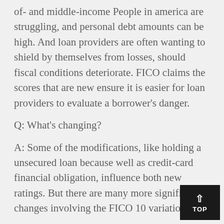of- and middle-income People in america are struggling, and personal debt amounts can be high. And loan providers are often wanting to shield by themselves from losses, should fiscal conditions deteriorate. FICO claims the scores that are new ensure it is easier for loan providers to evaluate a borrower's danger.
Q: What's changing?
A: Some of the modifications, like holding a unsecured loan because well as credit-card financial obligation, influence both new ratings. But there are many more significant changes involving the FICO 10 variation.
As an example, in place of taking a look at